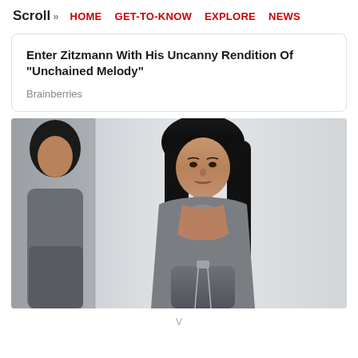Scroll >> HOME  GET-TO-KNOW  EXPLORE  NEWS
Enter Zitzmann With His Uncanny Rendition Of “Unchained Melody”
Brainberries
[Figure (photo): A young woman with long dark hair wearing a grey outfit standing in front of a mirror/white wall. A reflection or another person is partially visible on the left side.]
v